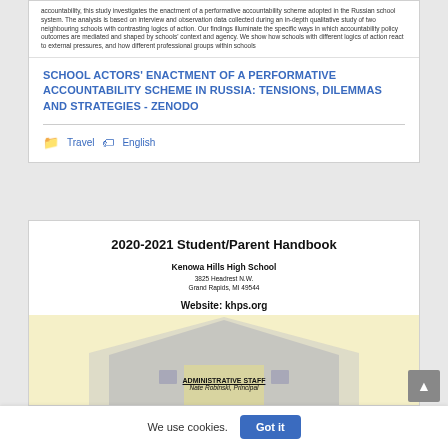accountability, this study investigates the enactment of a performative accountability scheme adopted in the Russian school system. The analysis is based on interview and observation data collected during an in-depth qualitative study of two neighbouring schools with contrasting logics of action. Our findings illuminate the specific ways in which accountability policy outcomes are mediated and shaped by schools' context and agency. We show how schools with different logics of action react to external pressures, and how different professional groups within schools
SCHOOL ACTORS' ENACTMENT OF A PERFORMATIVE ACCOUNTABILITY SCHEME IN RUSSIA: TENSIONS, DILEMMAS AND STRATEGIES - ZENODO
Travel   English
[Figure (screenshot): Screenshot of a 2020-2021 Student/Parent Handbook cover for Kenowa Hills High School, 3825 Headrest N.W., Grand Rapids, MI 49544. Website: khps.org. Contact info: Main Office 616-784-2400, Counseling Ext. 8222, Attendance Ext. 8201, Athletics Ext. 8424. Administrative Staff section with Nate Robinsk as Principal. Background features a stylized school building graphic in grey and yellow.]
We use cookies.
Got it